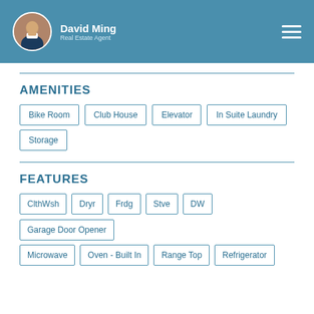David Ming
Real Estate Agent
AMENITIES
Bike Room
Club House
Elevator
In Suite Laundry
Storage
FEATURES
ClthWsh
Dryr
Frdg
Stve
DW
Garage Door Opener
Microwave
Oven - Built In
Range Top
Refrigerator